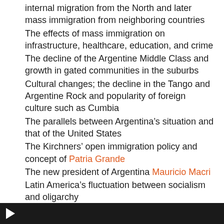internal migration from the North and later mass immigration from neighboring countries
The effects of mass immigration on infrastructure, healthcare, education, and crime
The decline of the Argentine Middle Class and growth in gated communities in the suburbs
Cultural changes; the decline in the Tango and Argentine Rock and popularity of foreign culture such as Cumbia
The parallels between Argentina's situation and that of the United States
The Kirchners' open immigration policy and concept of Patria Grande
The new president of Argentina Mauricio Macri
Latin America's fluctuation between socialism and oligarchy
Juan Perón's Third Way between Capitalism and Communism
[Figure (screenshot): Bottom portion of a video player with dark background and white play button arrow visible]